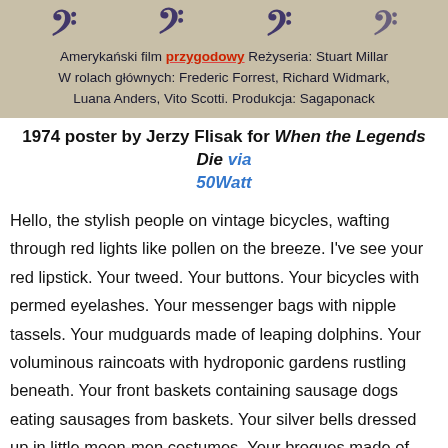[Figure (photo): Top portion of a Polish movie poster with ornate dark blue numerals across the top and text below reading: Amerykański film przygodowy Reżyseria: Stuart Millar W rolach głównych: Frederic Forrest, Richard Widmark, Luana Anders, Vito Scotti. Produkcja: Sagaponack]
1974 poster by Jerzy Flisak for When the Legends Die via 50Watt
Hello, the stylish people on vintage bicycles, wafting through red lights like pollen on the breeze. I've see your red lipstick. Your tweed. Your buttons. Your bicycles with permed eyelashes. Your messenger bags with nipple tassels. Your mudguards made of leaping dolphins. Your voluminous raincoats with hydroponic gardens rustling beneath. Your front baskets containing sausage dogs eating sausages from baskets. Your silver bells dressed up in little moon-men costumes. Your brogues made of rare African moths. Your helmets made of croissants. Your tattoos drawn by tamed swans. Your punctures fixed